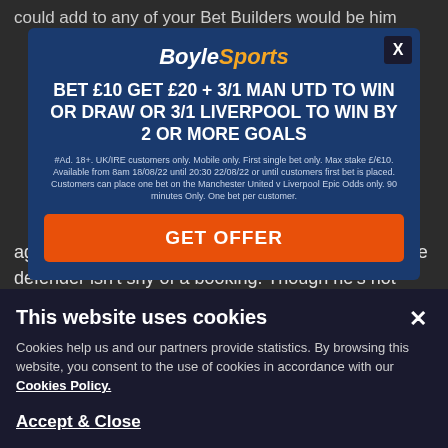could add to any of your Bet Builders would be him
[Figure (screenshot): BoyleSports advertisement modal with blue background. Logo at top, headline 'BET £10 GET £20 + 3/1 MAN UTD TO WIN OR DRAW OR 3/1 LIVERPOOL TO WIN BY 2 OR MORE GOALS', terms text, orange GET OFFER button, and carousel dots. X close button top right.]
age. He's been a rock at the back for Azzurri but the defender isn't shy of a booking. Though he's not picked one up yet at Euro 2021, he's managed to rack up 112 throughout his career and with this being one of the most important games of his career and the hardest so far this tournament, 11/4 for a booking
This website uses cookies
Cookies help us and our partners provide statistics. By browsing this website, you consent to the use of cookies in accordance with our Cookies Policy.
Accept & Close